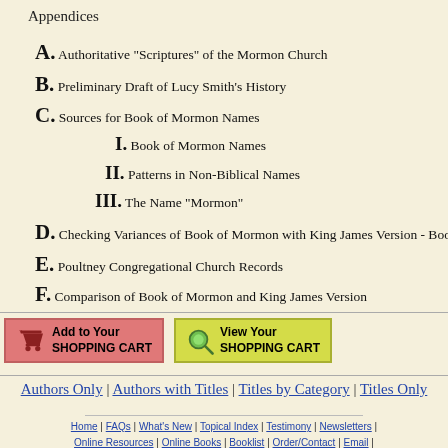Appendices
A. Authoritative "Scriptures" of the Mormon Church
B. Preliminary Draft of Lucy Smith's History
C. Sources for Book of Mormon Names
I. Book of Mormon Names
II. Patterns in Non-Biblical Names
III. The Name "Mormon"
D. Checking Variances of Book of Mormon with King James Version - Book o
E. Poultney Congregational Church Records
F. Comparison of Book of Mormon and King James Version
[Figure (screenshot): Add to Your Shopping Cart button (red/pink) and View Your Shopping Cart button (yellow-green)]
Authors Only | Authors with Titles | Titles by Category | Titles Only
Home | FAQs | What's New | Topical Index | Testimony | Newsletters | Online Resources | Online Books | Booklist | Order/Contact | Email | Other Websites